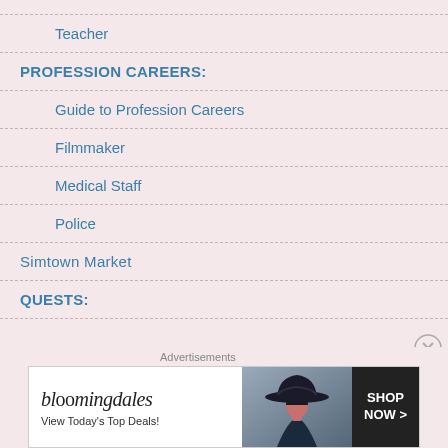Teacher
PROFESSION CAREERS:
Guide to Profession Careers
Filmmaker
Medical Staff
Police
Simtown Market
QUESTS:
[Figure (other): Bloomingdale's advertisement banner: 'View Today's Top Deals! SHOP NOW >']